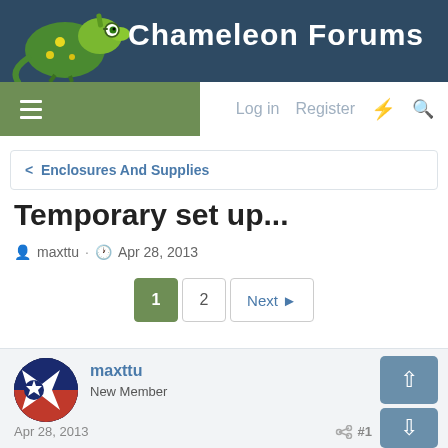Chameleon Forums
[Figure (logo): Chameleon Forums logo with cartoon chameleon mascot on dark blue banner]
Log in  Register
< Enclosures And Supplies
Temporary set up...
maxttu · Apr 28, 2013
1  2  Next
maxttu
New Member
Apr 28, 2013
#1